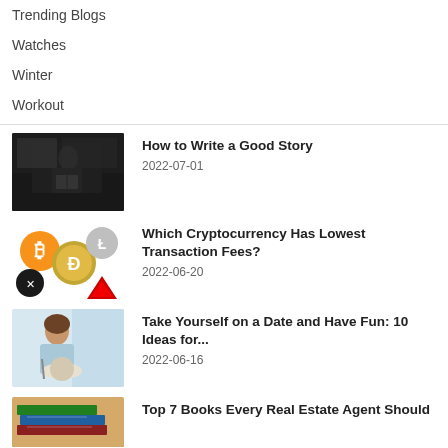Trending Blogs
Watches
Winter
Workout
[Figure (photo): Person reading a book outdoors in a cafe setting]
How to Write a Good Story
2022-07-01
[Figure (photo): Various cryptocurrency logos including Bitcoin, Dogecoin, Litecoin, XRP and Tron]
Which Cryptocurrency Has Lowest Transaction Fees?
2022-06-20
[Figure (photo): Woman eating a meal at a restaurant]
Take Yourself on a Date and Have Fun: 10 Ideas for...
2022-06-16
[Figure (photo): Books stacked - real estate theme]
Top 7 Books Every Real Estate Agent Should